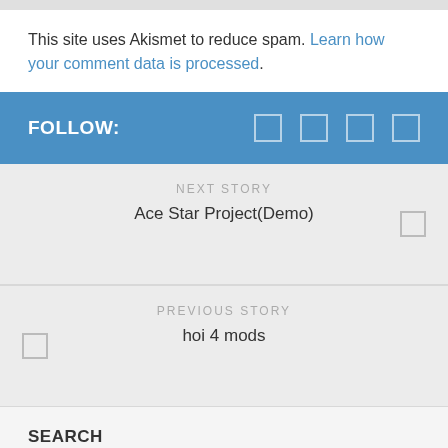This site uses Akismet to reduce spam. Learn how your comment data is processed.
FOLLOW:
NEXT STORY
Ace Star Project(Demo)
PREVIOUS STORY
hoi 4 mods
SEARCH
To search type and hit enter